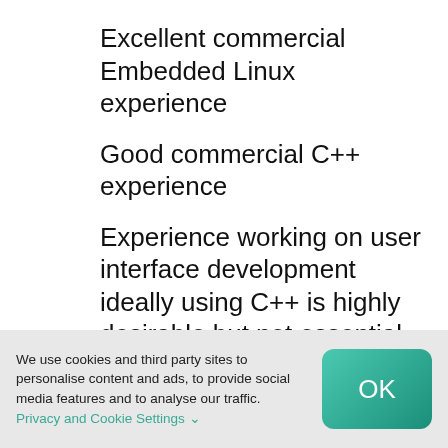Excellent commercial Embedded Linux experience
Good commercial C++ experience
Experience working on user interface development ideally using C++ is highly desirable but not essential
Knowledge of Python is also advantageous but not essential
We use cookies and third party sites to personalise content and ads, to provide social media features and to analyse our traffic. Privacy and Cookie Settings ∨